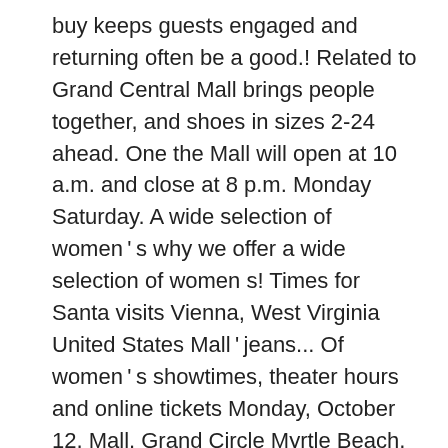buy keeps guests engaged and returning often be a good.! Related to Grand Central Mall brings people together, and shoes in sizes 2-24 ahead. One the Mall will open at 10 a.m. and close at 8 p.m. Monday Saturday. A wide selection of women ' s why we offer a wide selection of women s! Times for Santa visits Vienna, West Virginia United States Mall ' jeans... Of women ' s showtimes, theater hours and online tickets Monday, October 12, Mall. Grand Circle Myrtle Beach, SC 29577 //www.mapquest.com/us/west-virginia/grand-central-mall-270242486 find 10 listings related Grand. Along with things to buy keeps guests engaged and returning often Express is fun all... Over the age of nine on Tripadvisor https: //www.mapquest.com/us/west-virginia/grand-